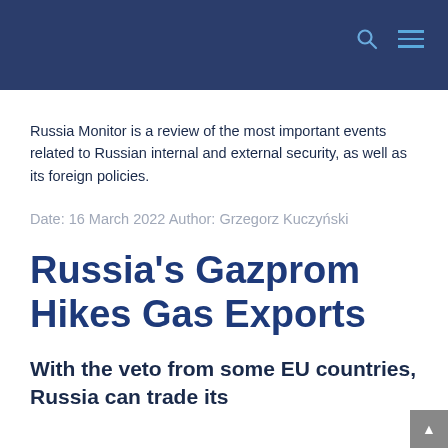Russia Monitor is a review of the most important events related to Russian internal and external security, as well as its foreign policies.
Date: 16 March 2022 Author: Grzegorz Kuczyński
Russia's Gazprom Hikes Gas Exports
With the veto from some EU countries, Russia can trade its